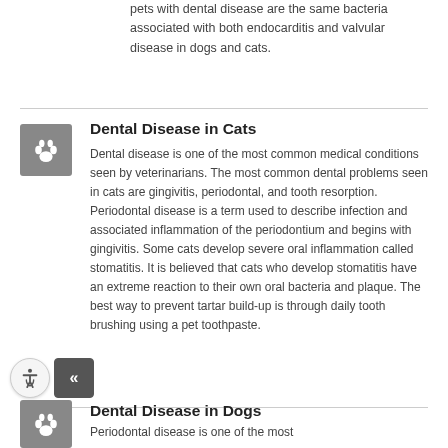pets with dental disease are the same bacteria associated with both endocarditis and valvular disease in dogs and cats.
Dental Disease in Cats
Dental disease is one of the most common medical conditions seen by veterinarians. The most common dental problems seen in cats are gingivitis, periodontal, and tooth resorption. Periodontal disease is a term used to describe infection and associated inflammation of the periodontium and begins with gingivitis. Some cats develop severe oral inflammation called stomatitis. It is believed that cats who develop stomatitis have an extreme reaction to their own oral bacteria and plaque. The best way to prevent tartar build-up is through daily tooth brushing using a pet toothpaste.
Dental Disease in Dogs